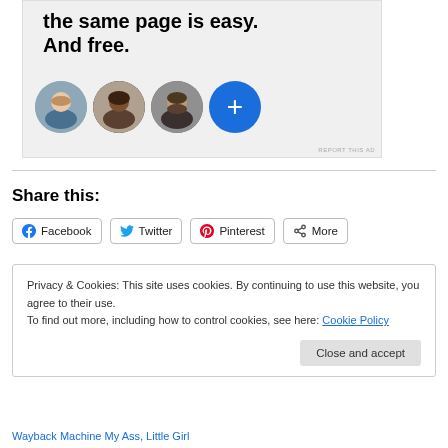[Figure (illustration): Advertisement banner with bold text 'the same page is easy. And free.' and three circular profile photos plus a blue plus-button circle]
Share this:
Facebook  Twitter  Pinterest  More
Privacy & Cookies: This site uses cookies. By continuing to use this website, you agree to their use.
To find out more, including how to control cookies, see here: Cookie Policy
Close and accept
Wayback Machine My Ass, Little Girl